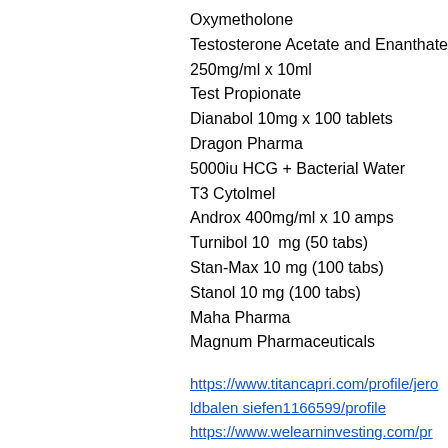Oxymetholone
Testosterone Acetate and Enanthate
250mg/ml x 10ml
Test Propionate
Dianabol 10mg x 100 tablets
Dragon Pharma
5000iu HCG + Bacterial Water
T3 Cytolmel
Androx 400mg/ml x 10 amps
Turnibol 10  mg (50 tabs)
Stan-Max 10 mg (100 tabs)
Stanol 10 mg (100 tabs)
Maha Pharma
Magnum Pharmaceuticals
https://www.titancapri.com/profile/jeroldbalen siefen1166599/profile https://www.welearninvesting.com/profile/rud